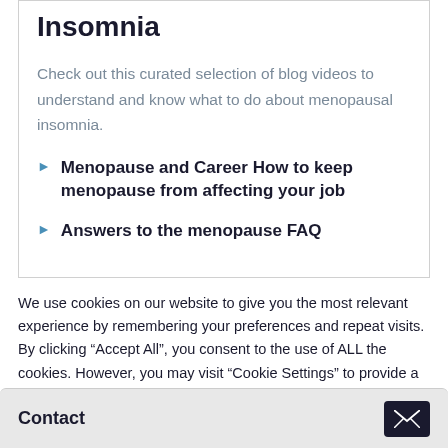Insomnia
Check out this curated selection of blog videos to understand and know what to do about menopausal insomnia.
Menopause and Career How to keep menopause from affecting your job
Answers to the menopause FAQ
We use cookies on our website to give you the most relevant experience by remembering your preferences and repeat visits. By clicking “Accept All”, you consent to the use of ALL the cookies. However, you may visit “Cookie Settings” to provide a controlled consent.
Contact